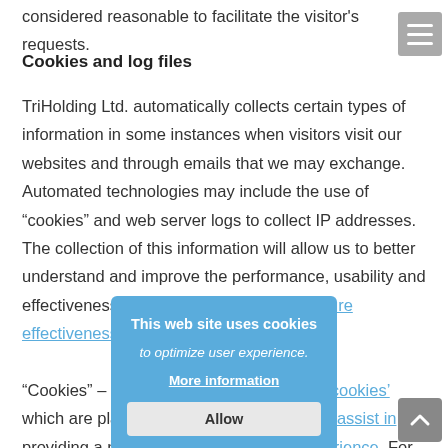considered reasonable to facilitate the visitor's requests.
Cookies and log files
TriHolding Ltd. automatically collects certain types of information in some instances when visitors visit our websites and through emails that we may exchange. Automated technologies may include the use of “cookies” and web server logs to collect IP addresses. The collection of this information will allow us to better understand and improve the performance, usability and effectiveness of our websites and to measure effectiveness of our marketing activities.
“Cookies” – We use small text files called ‘cookies’ which are placed on visitors’ hard drives to assist in providing a more customised website experience. For example, a cookie can be used to store registration information in an
[Figure (screenshot): Cookie consent popup overlay with blue background. Title: 'This web site uses cookies', subtitle: 'to optimize user experience.', link: 'More information', button: 'Allow']